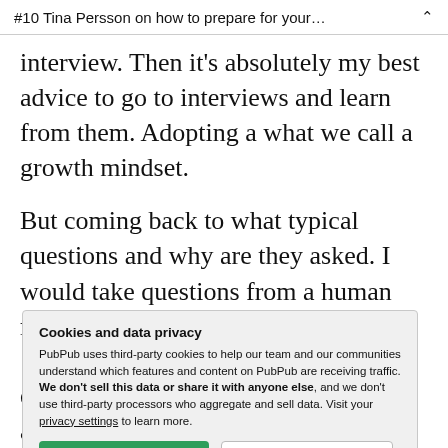#10 Tina Persson on how to prepare for your…
interview. Then it's absolutely my best advice to go to interviews and learn from them. Adopting a what we call a growth mindset.
But coming back to what typical questions and why are they asked. I would take questions from a human resource
Cookies and data privacy
PubPub uses third-party cookies to help our team and our communities understand which features and content on PubPub are receiving traffic. We don't sell this data or share it with anyone else, and we don't use third-party processors who aggregate and sell data. Visit your privacy settings to learn more.
questions and by institution questions and